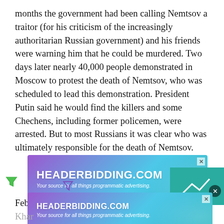months the government had been calling Nemtsov a traitor (for his criticism of the increasingly authoritarian Russian government) and his friends were warning him that he could be murdered. Two days later nearly 40,000 people demonstrated in Moscow to protest the death of Nemtsov, who was scheduled to lead this demonstration. President Putin said he would find the killers and some Chechens, including former policemen, were arrested. But to most Russians it was clear who was ultimately responsible for the death of Nemtsov.
[Figure (other): HEADERBIDDING.COM advertisement banner - 'Your source for all things programmatic advertising.']
February 22, 2015: In the eastern Ukraine city of
Khar[...] celeb[...]
[Figure (other): HEADERBIDDING.COM advertisement banner (partial) - 'Your source for all things programmatic advertising.']